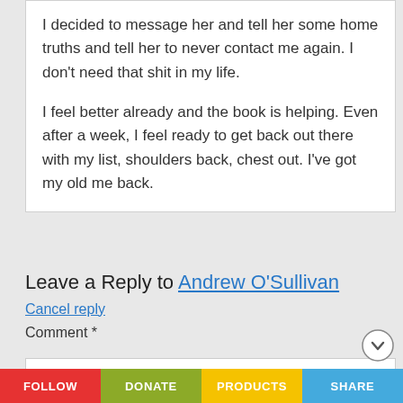I decided to message her and tell her some home truths and tell her to never contact me again. I don't need that shit in my life.

I feel better already and the book is helping. Even after a week, I feel ready to get back out there with my list, shoulders back, chest out. I've got my old me back.
Leave a Reply to Andrew O'Sullivan
Cancel reply
Comment *
FOLLOW   DONATE   PRODUCTS   SHARE